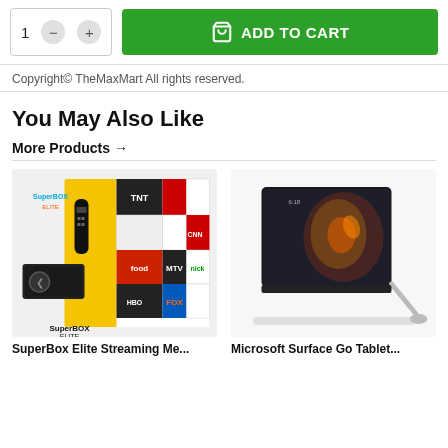[Figure (screenshot): Quantity selector with minus and plus buttons showing '1', and a green 'ADD TO CART' button with cart icon]
Copyright© TheMaxMart All rights reserved.
You May Also Like
More Products →
[Figure (photo): SuperBox Elite Streaming Media player product image showing device, remote, and channel logos]
[Figure (photo): Microsoft Surface Go Tablet product image showing tablet propped up with kickstand]
SuperBox Elite Streaming Me...
Microsoft Surface Go Tablet...